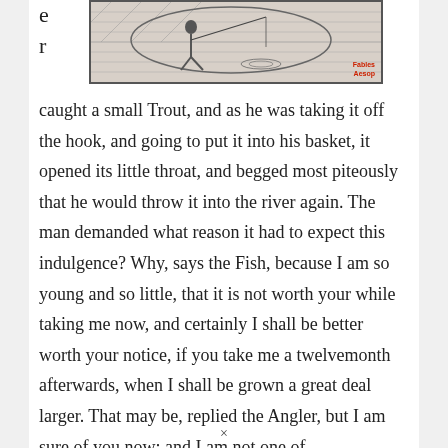[Figure (illustration): A woodcut or engraved illustration, partially visible at top of page, showing a scene likely related to fishing or a fable. A red label reading 'Fables Aesop' appears in the bottom right corner of the illustration.]
caught a small Trout, and as he was taking it off the hook, and going to put it into his basket, it opened its little throat, and begged most piteously that he would throw it into the river again. The man demanded what reason it had to expect this indulgence? Why, says the Fish, because I am so young and so little, that it is not worth your while taking me now, and certainly I shall be better worth your notice, if you take me a twelvemonth afterwards, when I shall be grown a great deal larger. That may be, replied the Angler, but I am sure of you now; and I am not one of
×